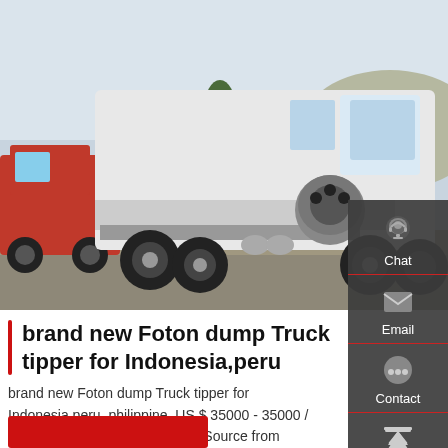[Figure (photo): A white Foton dump truck/tipper cab chassis parked on a road, with a red truck partially visible on the left, trees and hills in the background.]
brand new Foton dump Truck tipper for Indonesia,peru
brand new Foton dump Truck tipper for Indonesia,peru, philippine, US $ 35000 - 35000 / Unit, New, 251 - 350hp, Euro 3.Source from Qingdao Seize The ...